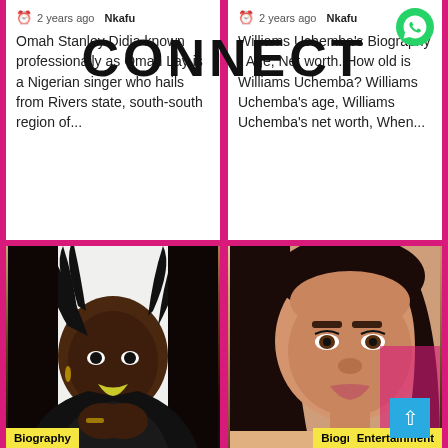CONNECT
2 years ago  Nkafu
Omah Stanley Didia known professionally as Omah Lay is a Nigerian singer who hails from Rivers state, south-south region of...
2 years ago  Nkafu
Williams Uchemba's Biography - Age, Net worth. How old is Williams Uchemba? Williams Uchemba's age, Williams Uchemba's net worth, When...
[Figure (photo): Portrait of a dark-skinned woman with dreadlocks and dark lipstick wearing a black leather jacket]
[Figure (photo): Portrait of a light-skinned woman with long dark hair and subtle makeup]
Biography
Biography
Entertainment